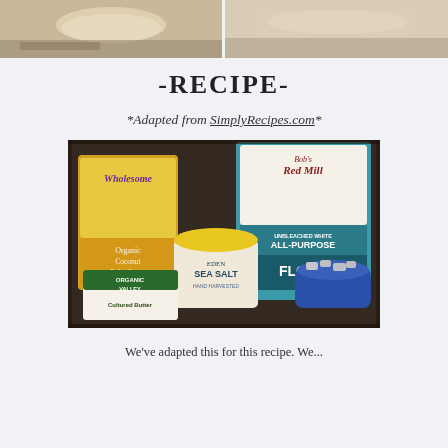[Figure (photo): Two food preparation photos side by side at the top of the page showing dough/pastry work]
-RECIPE-
*Adapted from SimplyRecipes.com*
[Figure (photo): Baking ingredients displayed on a dark countertop: Wholesome Organic Coconut Palm Sugar bag, Bob's Red Mill Unbleached White All-Purpose Flour bag, Eden Sea Salt jar, Organic Valley Cultured Butter box, and a blue bowl with butter pieces]
We've adapted this for this recipe. We.......